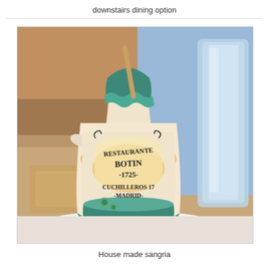downstairs dining option
[Figure (photo): A ceramic sangria pitcher from Restaurante Botin, Madrid, established 1725, decorated with teal glaze at the top and bottom, hand-painted text on an orange/cream background reading 'Restaurante Botin 1725 Cuchilleros 17 Madrid', sitting on a white plate. A glass of water is visible in the background, along with blurred restaurant interior.]
House made sangria